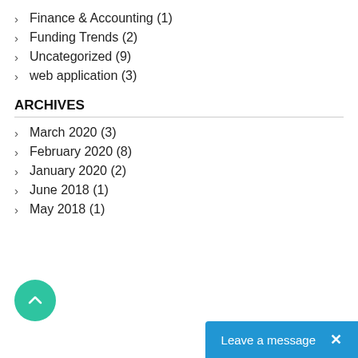Finance & Accounting (1)
Funding Trends (2)
Uncategorized (9)
web application (3)
ARCHIVES
March 2020 (3)
February 2020 (8)
January 2020 (2)
June 2018 (1)
May 2018 (1)